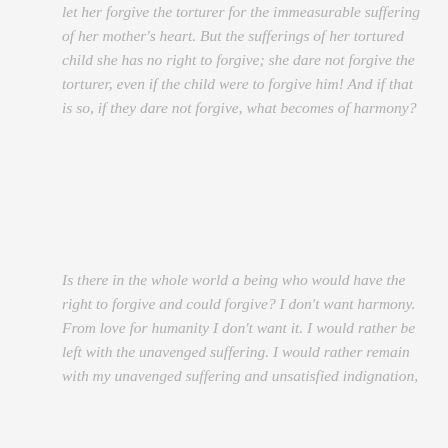let her forgive the torturer for the immeasurable suffering of her mother's heart. But the sufferings of her tortured child she has no right to forgive; she dare not forgive the torturer, even if the child were to forgive him! And if that is so, if they dare not forgive, what becomes of harmony?
Is there in the whole world a being who would have the right to forgive and could forgive? I don't want harmony. From love for humanity I don't want it. I would rather be left with the unavenged suffering. I would rather remain with my unavenged suffering and unsatisfied indignation,